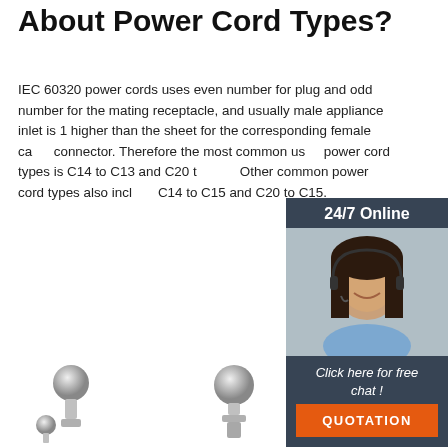About Power Cord Types?
IEC 60320 power cords uses even number for plug and odd number for the mating receptacle, and usually male appliance inlet is 1 higher than the sheet for the corresponding female cable connector. Therefore the most common used power cord types is C14 to C13 and C20 to C19. Other common power cord types also include C14 to C15 and C20 to C15.
[Figure (illustration): Customer service agent widget with '24/7 Online' header, photo of woman with headset, 'Click here for free chat!' text, and orange QUOTATION button]
[Figure (other): Get Price orange button]
[Figure (photo): Three metallic ball-shaped connector components/plugs shown at the bottom of the page]